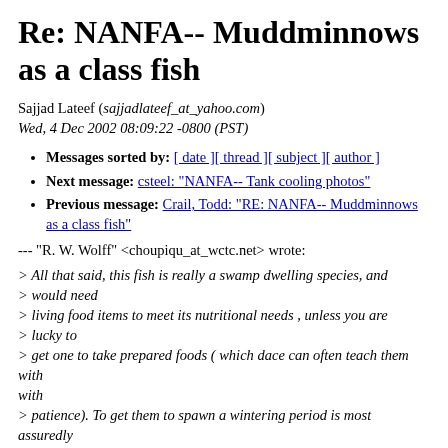Re: NANFA-- Muddminnows as a class fish
Sajjad Lateef (sajjadlateef_at_yahoo.com)
Wed, 4 Dec 2002 08:09:22 -0800 (PST)
Messages sorted by: [ date ][ thread ][ subject ][ author ]
Next message: csteel: "NANFA-- Tank cooling photos"
Previous message: Crail, Todd: "RE: NANFA-- Muddminnows as a class fish"
--- "R. W. Wolff" <choupiqu_at_wctc.net> wrote:
> All that said, this fish is really a swamp dwelling species, and > would need > living food items to meet its nutritional needs , unless you are > lucky to > get one to take prepared foods ( which dace can often teach them with > patience). To get them to spawn a wintering period is most assuredly > a must.